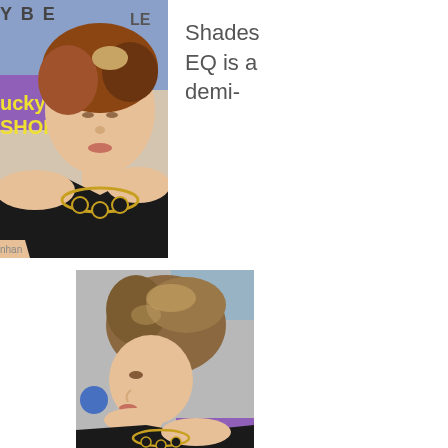[Figure (photo): Woman with reddish-brown updo hair wearing black dress and gold chain necklace, at Lucky magazine event with blue backdrop]
Shades EQ is a demi-
[Figure (photo): Side profile view of the same woman with wavy updo hair wearing black dress and gold necklace, at an event]